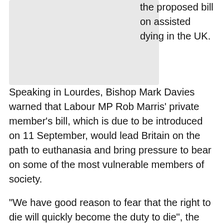[Figure (photo): Image placeholder (partially visible image from article about assisted dying in the UK)]
the proposed bill on assisted dying in the UK.
Speaking in Lourdes, Bishop Mark Davies warned that Labour MP Rob Marris' private member's bill, which is due to be introduced on 11 September, would lead Britain on the path to euthanasia and bring pressure to bear on some of the most vulnerable members of society.
“We have good reason to fear that the right to die will quickly become the duty to die”, the Bishop declared in a homily preached during Mass at Lourdes grotto.
Bishop Davies said that in a place where the sick and frail are placed at the centre of our concerns it is “hard to believe that a law of despair is about to be rushed through Parliament”.
He explained to 800 participants of the Shrewsbury Diocesan annual pilgrimage that the proposed law aimed to remove legal protections from some of the most